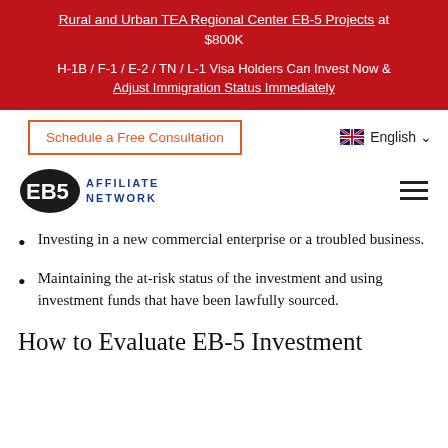Rural and Urban TEA Regional Center EB-5 Projects at $800K
H-1B / F-1 / E-2 / TN / L-1 Visa Holders Can Invest Now & Adjust Immigration Status Immediately
[Figure (logo): EB5 Affiliate Network logo with US map silhouette and blue text]
Investing in a new commercial enterprise or a troubled business.
Maintaining the at-risk status of the investment and using investment funds that have been lawfully sourced.
How to Evaluate EB-5 Investment